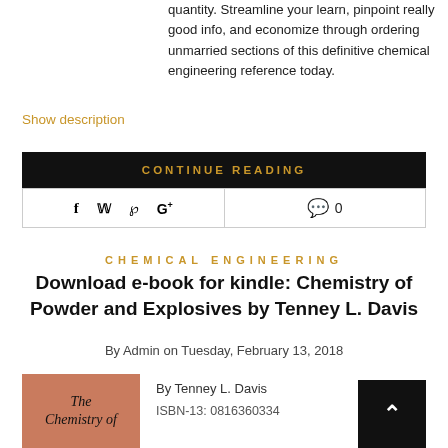quantity. Streamline your learn, pinpoint really good info, and economize through ordering unmarried sections of this definitive chemical engineering reference today.
Show description
CONTINUE READING
[Figure (other): Social sharing bar with Facebook, Twitter, Pinterest, Google+ icons and a comment count of 0]
CHEMICAL ENGINEERING
Download e-book for kindle: Chemistry of Powder and Explosives by Tenney L. Davis
By Admin on Tuesday, February 13, 2018
[Figure (photo): Book cover of The Chemistry of Powder and Explosives, salmon/terracotta colored cover with italic serif text]
By Tenney L. Davis
ISBN-13: 0816360334